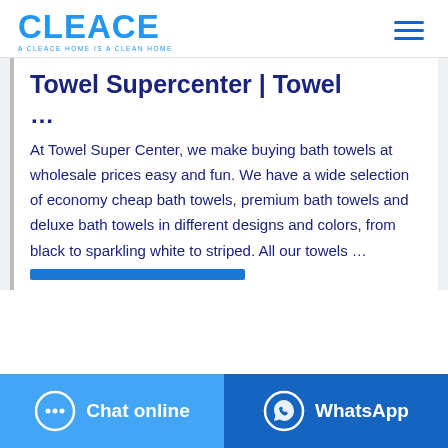CLEACE — A CLEACE HOME IS A CLEAN HOME
Towel Supercenter | Towel …
At Towel Super Center, we make buying bath towels at wholesale prices easy and fun. We have a wide selection of economy cheap bath towels, premium bath towels and deluxe bath towels in different designs and colors, from black to sparkling white to striped. All our towels …